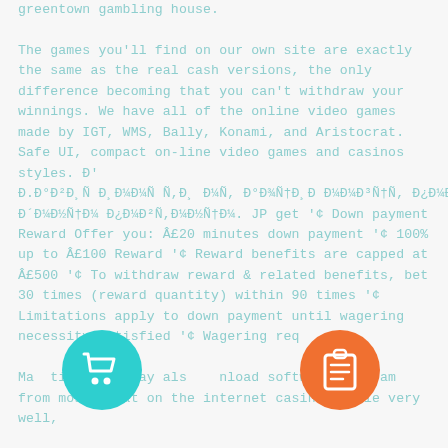greentown gambling house. The games you'll find on our own site are exactly the same as the real cash versions, the only difference becoming that you can't withdraw your winnings. We have all of the online video games made by IGT, WMS, Bally, Konami, and Aristocrat. Safe UI, compact on-line video games and casinos styles. Đ' Đ.Đ°Đ²Đ¸Ñ Đ¸Đ¼Đ¼Ñ Ñ,Đ¸ Đ¼Ñ, Đ°Đ¾Ñ†Đ¸Đ¸ Đ¸Đ³Ñ€Đ¼Đ°Đ¸ Đ¼Đ¼Đ³Ñ†Ñ, Đ¿Đ¼Đ»Ñ†Ñ±Đ¸Ñ,Ñ,ŒÐ Đ½Đ¼Ñ Đ°ĐÀĐ¾Ñ†Đ¸Đ¼Đ²; Đ±Đ¼Đ½Ñ†Ñ Đ½Ñ,Đ¼ Đ±Đ°Đ»Ñ,ŒÐĐ¸ Đ¿Đ»Đ¸Ñ†Đ¸Đ¼Đ½Ñ†Đ¼ Đ´Đ¼Đ²Ñ,Đ¼... JP get '¢ Down payment Reward Offer you: Â£20 minutes down payment '¢ 100% up to Â£100 Reward '¢ Reward benefits are capped at Â£500 '¢ To withdraw reward & related benefits, bet 30 times (reward quantity) within 90 times '¢ Limitations apply to down payment until wagering necessity satisfied '¢ Wagering req... Many participants may also download software program from most great on the internet casinos while very well,
[Figure (illustration): Teal circle icon with white shopping cart symbol]
[Figure (illustration): Orange circle icon with white clipboard/list symbol]